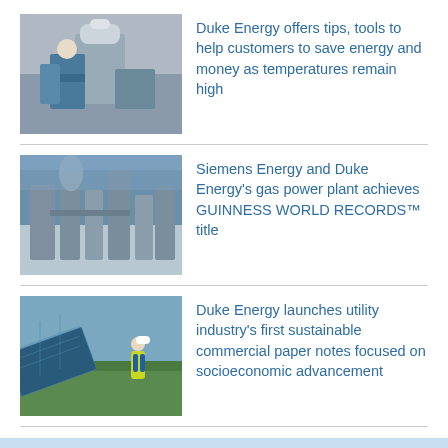[Figure (photo): Worker in hard hat and yellow vest working on equipment]
Duke Energy offers tips, tools to help customers to save energy and money as temperatures remain high
[Figure (photo): Industrial gas power plant facility]
Siemens Energy and Duke Energy's gas power plant achieves GUINNESS WORLD RECORDS™ title
[Figure (photo): Solar panels with worker in yellow vest standing nearby]
Duke Energy launches utility industry's first sustainable commercial paper notes focused on socioeconomic advancement
Related Tags
North Carolina, Environment, Coal Ash